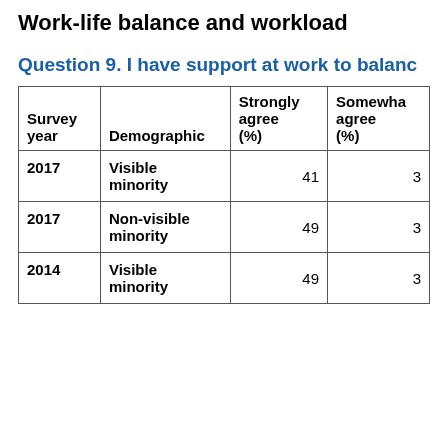Work-life balance and workload
Question 9. I have support at work to balanc…
| Survey year | Demographic | Strongly agree (%) | Somewhat agree (%) |
| --- | --- | --- | --- |
| 2017 | Visible minority | 41 | 3 |
| 2017 | Non-visible minority | 49 | 3 |
| 2014 | Visible minority | 49 | 3 |